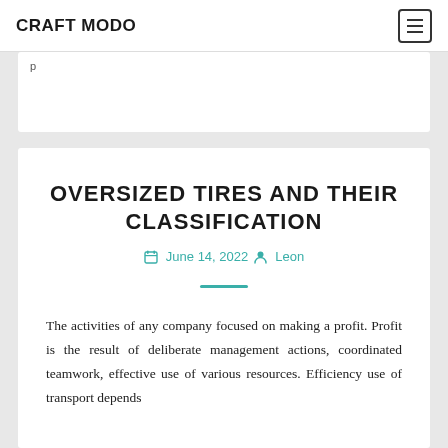CRAFT MODO
OVERSIZED TIRES AND THEIR CLASSIFICATION
June 14, 2022  Leon
The activities of any company focused on making a profit. Profit is the result of deliberate management actions, coordinated teamwork, effective use of various resources. Efficiency use of transport depends